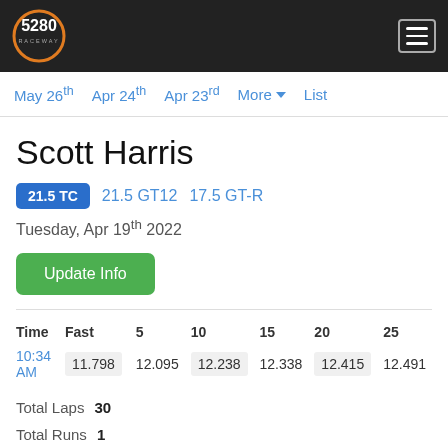5280 RACEWAY
May 26th  Apr 24th  Apr 23rd  More  List
Scott Harris
21.5 TC  21.5 GT12  17.5 GT-R
Tuesday, Apr 19th 2022
Update Info
| Time | Fast | 5 | 10 | 15 | 20 | 25 |
| --- | --- | --- | --- | --- | --- | --- |
| 10:34 AM | 11.798 | 12.095 | 12.238 | 12.338 | 12.415 | 12.491 |
Total Laps  30
Total Runs  1
10:34 AM